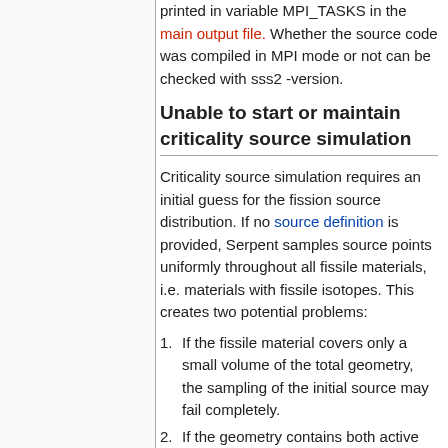printed in variable MPI_TASKS in the main output file. Whether the source code was compiled in MPI mode or not can be checked with sss2 -version.
Unable to start or maintain criticality source simulation
Criticality source simulation requires an initial guess for the fission source distribution. If no source definition is provided, Serpent samples source points uniformly throughout all fissile materials, i.e. materials with fissile isotopes. This creates two potential problems:
If the fissile material covers only a small volume of the total geometry, the sampling of the initial source may fail completely.
If the geometry contains both active and inactive fissile zones